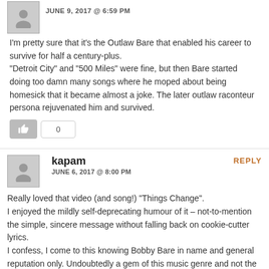JUNE 9, 2017 @ 6:59 PM
I'm pretty sure that it's the Outlaw Bare that enabled his career to survive for half a century-plus.
"Detroit City" and "500 Miles" were fine, but then Bare started doing too damn many songs where he moped about being homesick that it became almost a joke. The later outlaw raconteur persona rejuvenated him and survived.
0
REPLY
kapam
JUNE 6, 2017 @ 8:00 PM
Really loved that video (and song!) "Things Change".
I enjoyed the mildly self-deprecating humour of it – not-to-mention the simple, sincere message without falling back on cookie-cutter lyrics.
I confess, I come to this knowing Bobby Bare in name and general reputation only. Undoubtedly a gem of this music genre and not the last time I'll take an interest in his music.
3+